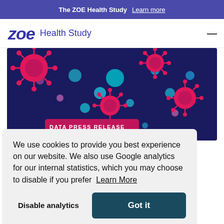The ZOE Health Study  Learn more
[Figure (logo): ZOE Health Study logo with italic ZOE text in dark blue and 'Health Study' subtitle]
[Figure (illustration): Dark navy blue banner with pink coronavirus/COVID virus illustrations and colorful circles. Badge at bottom-left reads 'DATA PRESS RELEASE' in pink background.]
We use cookies to provide you best experience on our website. We also use Google analytics for our internal statistics, which you may choose to disable if you prefer  Learn More
Disable analytics   Got it
symptomatic cases of COVID in the UK on average.